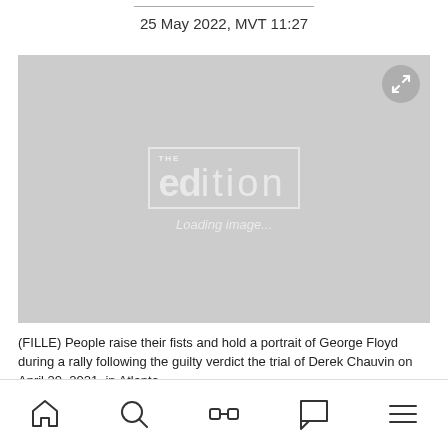25 May 2022, MVT 11:27
[Figure (photo): Loading image placeholder with 'The Edition' watermark logo and expand button in top-right corner. Gray background with white logo text.]
(FILLE) People raise their fists and hold a portrait of George Floyd during a rally following the guilty verdict the trial of Derek Chauvin on April 20, 2021, in Atlanta.